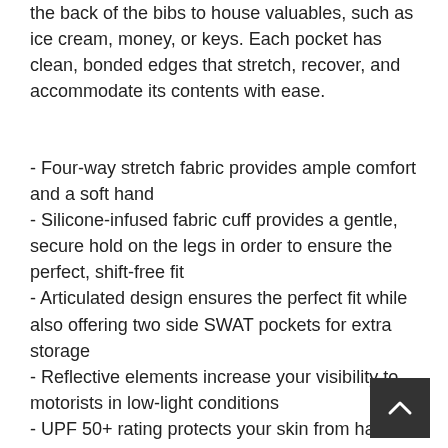the back of the bibs to house valuables, such as ice cream, money, or keys. Each pocket has clean, bonded edges that stretch, recover, and accommodate its contents with ease.
- Four-way stretch fabric provides ample comfort and a soft hand
- Silicone-infused fabric cuff provides a gentle, secure hold on the legs in order to ensure the perfect, shift-free fit
- Articulated design ensures the perfect fit while also offering two side SWAT pockets for extra storage
- Reflective elements increase your visibility to motorists in low-light conditions
- UPF 50+ rating protects your skin from harmful ultraviolet rays
- Women's-specific Body Geometry Contour 3D Chamois is pre-molded to match the shape of the body for exceptional comfort
- Women's-specific Slim Fit with an 8" inseam (size Medium)